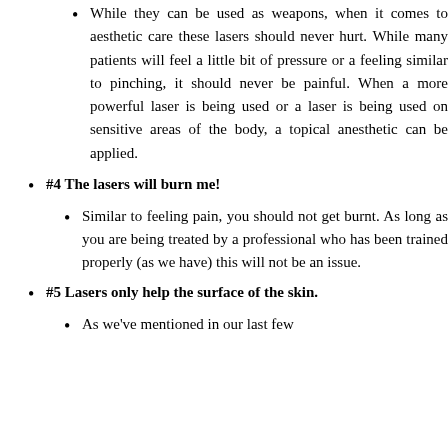While they can be used as weapons, when it comes to aesthetic care these lasers should never hurt. While many patients will feel a little bit of pressure or a feeling similar to pinching, it should never be painful. When a more powerful laser is being used or a laser is being used on sensitive areas of the body, a topical anesthetic can be applied.
#4 The lasers will burn me!
Similar to feeling pain, you should not get burnt. As long as you are being treated by a professional who has been trained properly (as we have) this will not be an issue.
#5 Lasers only help the surface of the skin.
As we've mentioned in our last few